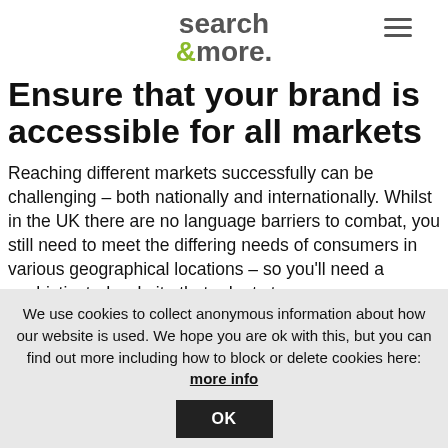[Figure (logo): Search & More logo with hamburger menu icon]
Ensure that your brand is accessible for all markets
Reaching different markets successfully can be challenging – both nationally and internationally. Whilst in the UK there are no language barriers to combat, you still need to meet the differing needs of consumers in various geographical locations – so you'll need a sophisticated website that adapts to
We use cookies to collect anonymous information about how our website is used. We hope you are ok with this, but you can find out more including how to block or delete cookies here: more info
OK